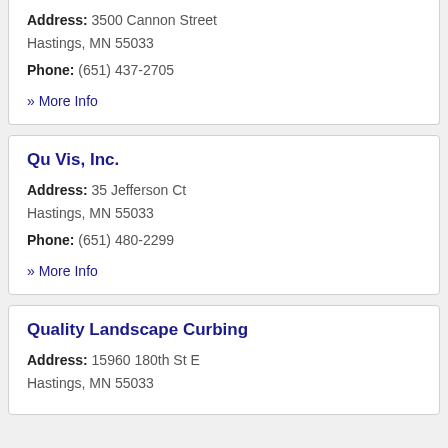Address: 3500 Cannon Street Hastings, MN 55033
Phone: (651) 437-2705
» More Info
Qu Vis, Inc.
Address: 35 Jefferson Ct Hastings, MN 55033
Phone: (651) 480-2299
» More Info
Quality Landscape Curbing
Address: 15960 180th St E Hastings, MN 55033